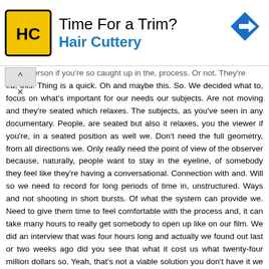[Figure (other): Hair Cuttery advertisement banner with logo (HC in yellow square), title 'Time For a Trim?', subtitle 'Hair Cuttery', and a blue direction sign icon]
a real person if you're so caught up in the, process. Or not. They're ed, this. Thing is a quick. Oh and maybe this. So. We decided what to, focus on what's important for our needs our subjects. Are not moving and they're seated which relaxes. The subjects, as you've seen in any documentary. People, are seated but also it relaxes, you the viewer if you're, in a seated position as well we. Don't need the full geometry, from all directions we. Only really need the point of view of the observer because, naturally, people want to stay in the eyeline, of somebody they feel like they're having a conversational. Connection with and. Will so we need to record for long periods of time in, unstructured. Ways and not shooting in short bursts. Of what the system can provide we. Need to give them time to feel comfortable with the process and, it can take many hours to really get somebody to open up like on our film. We did an interview that was four hours long and actually we found out last or two weeks ago did you see that what it cost us what twenty-four million dollars so. Yeah, that's not a viable solution you don't have it we don't get that kind of money, but. Most important of all besides, all those other things even beyond cost is, their faces need to feel a lot, unbelievable. And a. Lot of volumetric, video, processes. Don't create, that illusion. But what does is 3d. Stereo and our backgrounds, is in 3d cinema, we're both. Filmmakers. And camera people that used to work back when 3d was a thing everybody remembers avatar and. It's a process known as stereo graffiti so. What is stereo, field we, see the world and VR most of us any wave we have both arise through. Binocular, vision and it, gives us our ability to perceive depth we know distance, just by looking at something based on how the. Separation, of parallax between, one object appears in both our eyes helps, us understand, if it's close for the one or whatever. For in the conduction of this effect how do ti